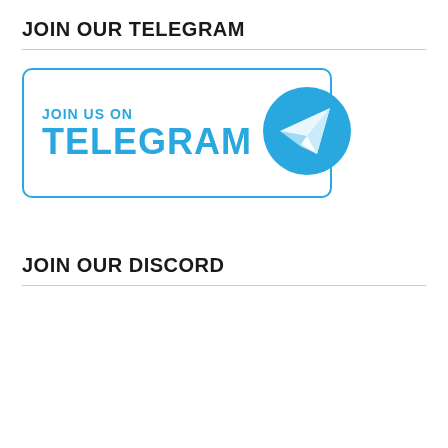JOIN OUR TELEGRAM
[Figure (logo): Telegram banner with 'JOIN US ON TELEGRAM' text in cyan/blue and a Telegram paper plane logo circle on the right, inside a cyan-bordered rounded rectangle.]
JOIN OUR DISCORD